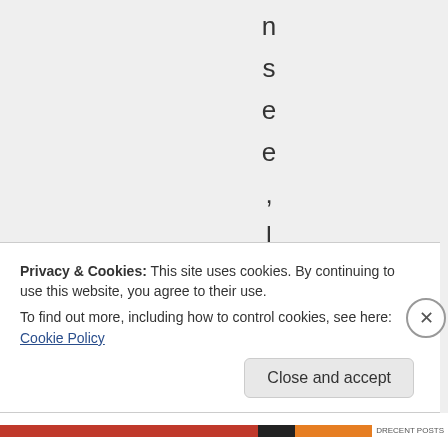n s e e , l h a v e m
Privacy & Cookies: This site uses cookies. By continuing to use this website, you agree to their use.
To find out more, including how to control cookies, see here: Cookie Policy
Close and accept